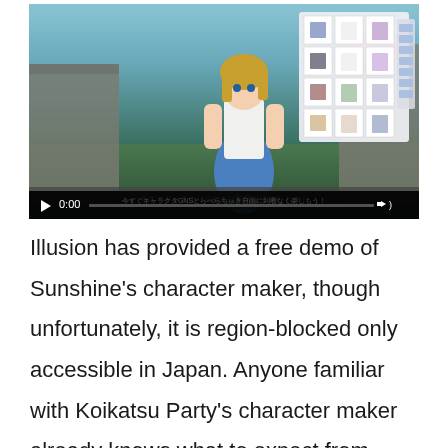[Figure (screenshot): Video player showing an anime character customization screen. A female anime character in a blue skirt and white top stands in front of a stone wall with flowers. A clothing/costume selection grid is visible on screen. Video controls show at the bottom with timestamp 0:00. Japanese subtitle text appears at the bottom of the video.]
Illusion has provided a free demo of Sunshine’s character maker, though unfortunately, it is region-blocked only accessible in Japan. Anyone familiar with Koikatsu Party’s character maker already knows what to expect from Sunshine as it uses the exact same features and user interface, only with an exception of a light